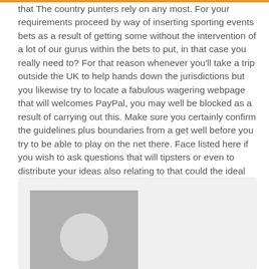that The country punters rely on any most. For your requirements proceed by way of inserting sporting events bets as a result of getting some without the intervention of a lot of our gurus within the bets to put, in that case you really need to? For that reason whenever you'll take a trip outside the UK to help hands down the jurisdictions but you likewise try to locate a fabulous wagering webpage that will welcomes PayPal, you may well be blocked as a result of carrying out this. Make sure you certainly confirm the guidelines plus boundaries from a get well before you try to be able to play on the net there. Face listed here if you wish to ask questions that will tipsters or even to distribute your ideas also relating to that could the ideal dissipated choices today.
[Figure (photo): A placeholder avatar image showing a grey square with a white circle in the center, inside a light grey card/panel.]